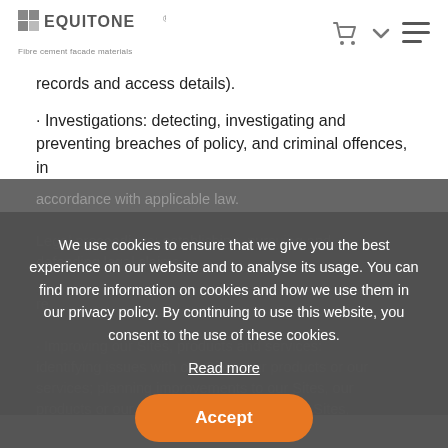EQUITONE® — Fibre cement facade materials
records and access details).
• Investigations: detecting, investigating and preventing breaches of policy, and criminal offences, in
accordance with applicable law.
Legal proceedings: establishing, pursuing and defending legal claims.
Improving our Sites, products and services: identifying issues with our Sites, our products or our services; planning improvements to our Sites, our products or our services; and creating new Sites,
We use cookies to ensure that we give you the best experience on our website and to analyse its usage. You can find more information on cookies and how we use them in our privacy policy. By continuing to use this website, you consent to the use of these cookies.
Read more
Accept